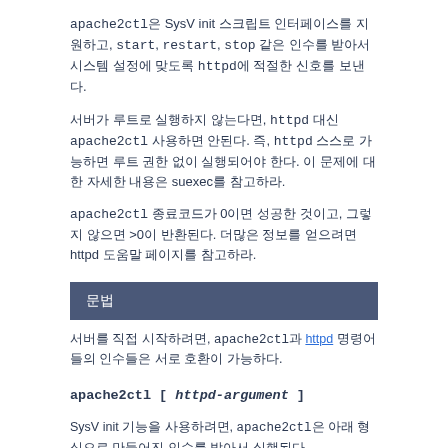apache2ctl은 SysV init 스크립트 인터페이스를 지원하고, start, restart, stop 같은 인수를 받아서 시스템 설정에 맞도록 httpd에 적절한 신호를 보낸다.
서버가 루트로 실행하지 않는다면, httpd 대신 apache2ctl을 사용하면 안된다. 즉, httpd 스스로 가능하면 루트 권한 없이 실행되어야 한다. 이 문제에 대한 자세한 내용은 suexec를 참고하라.
apache2ctl 종료코드가 0이면 성공한 것이고, 그렇지 않으면 >0이 반환된다. 더많은 정보를 얻으려면 httpd 도움말 페이지를 참고하라.
문법
서버를 직접 시작하려면, apache2ctl과 httpd 명령어들의 인수들은 서로 호환이 가능하다.
SysV init 기능을 사용하려면, apache2ctl은 아래 형식으로 만들어진 인수를 받아서 실행된다.